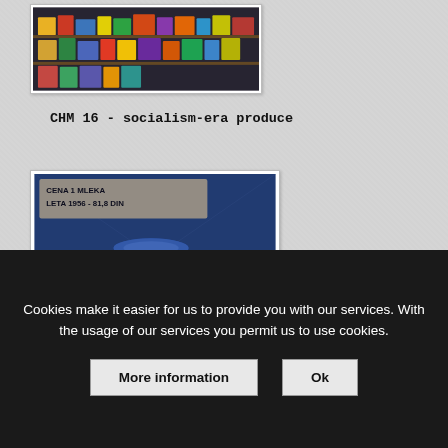[Figure (photo): Photograph of a store shelf with socialism-era produce items]
CHM 16 - socialism-era produce
[Figure (photo): Photograph of a blue milk can in a museum display, with text showing CENA 1 MLEKA LETA 1956 - 81,8 DIN]
CHM 17 - milk price 1956
Cookies make it easier for us to provide you with our services. With the usage of our services you permit us to use cookies.